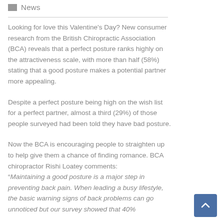News
Looking for love this Valentine's Day? New consumer research from the British Chiropractic Association (BCA) reveals that a perfect posture ranks highly on the attractiveness scale, with more than half (58%) stating that a good posture makes a potential partner more appealing.
Despite a perfect posture being high on the wish list for a perfect partner, almost a third (29%) of those people surveyed had been told they have bad posture.
Now the BCA is encouraging people to straighten up to help give them a chance of finding romance. BCA chiropractor Rishi Loatey comments: “Maintaining a good posture is a major step in preventing back pain. When leading a busy lifestyle, the basic warning signs of back problems can go unnoticed but our survey showed that 40%